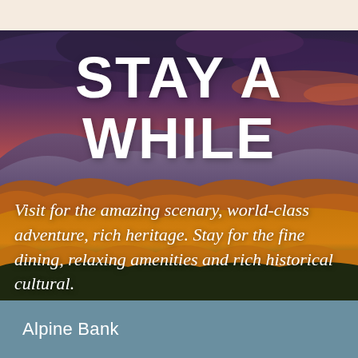[Figure (photo): Aerial mountain landscape at sunset with dramatic clouds, purple and orange sky, and autumn forest-covered hills]
STAY A WHILE
Visit for the amazing scenary, world-class adventure, rich heritage. Stay for the fine dining, relaxing amenities and rich historical cultural.
Alpine Bank